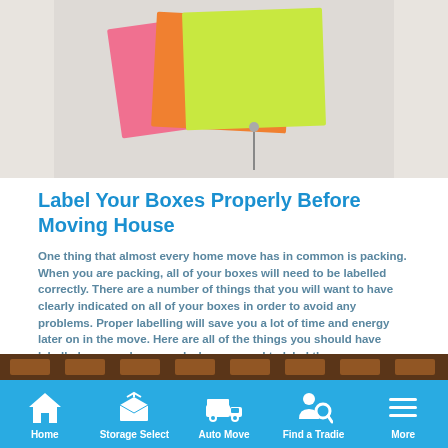[Figure (photo): Photo of colorful sticky notes (yellow-green, orange, pink) pinned together, on a light grey background]
Label Your Boxes Properly Before Moving House
One thing that almost every home move has in common is packing. When you are packing, all of your boxes will need to be labelled correctly. There are a number of things that you will want to have clearly indicated on all of your boxes in order to avoid any problems. Proper labelling will save you a lot of time and energy later on in the move. Here are all of the things you should have labelled on your boxes and why you need to label them.
Read more >
[Figure (photo): Photo of storage units or warehouse interior with orange lighting]
Home | Storage Select | Auto Move | Find a Tradie | More